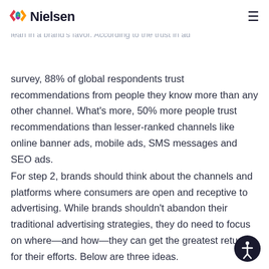Nielsen
in every strategy, plan and execution. Taking the top-trusted channel—word-of-mouth—lean in a brand's favor. According to the trust in ad
survey, 88% of global respondents trust recommendations from people they know more than any other channel. What's more, 50% more people trust recommendations than lesser-ranked channels like online banner ads, mobile ads, SMS messages and SEO ads.
For step 2, brands should think about the channels and platforms where consumers are open and receptive to advertising. While brands shouldn't abandon their traditional advertising strategies, they do need to focus on where—and how—they can get the greatest returns for their efforts. Below are three ideas.